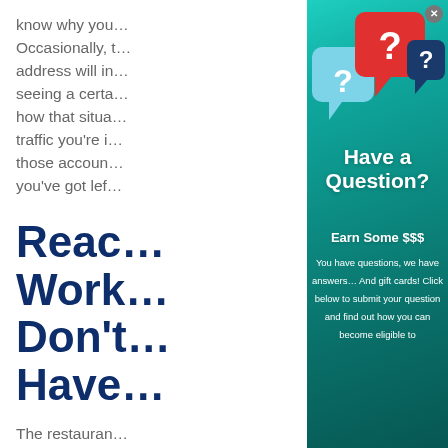know why you… Occasionally, t… address will in… seeing a certa… how that situa… traffic you're i… those accoun… you've got lef…
Reach Work Don't Have
The restauran…
[Figure (infographic): Popup/modal overlay on teal background with three speech bubble question mark icons (light blue, red, dark blue). Text reads: 'Have a Question? Earn Some $$$ You have questions, we have answers... And gift cards! Click below to submit your question and find out how you can become eligible to' with a close (X) button in top right corner.]